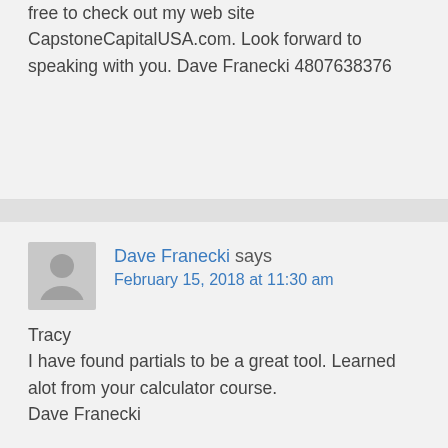free to check out my web site CapstoneCapitalUSA.com. Look forward to speaking with you. Dave Franecki 4807638376
Dave Franecki says
February 15, 2018 at 11:30 am
Tracy
I have found partials to be a great tool. Learned alot from your calculator course.
Dave Franecki